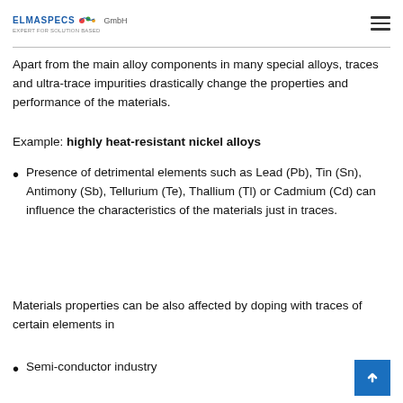ELMASPECS GmbH
Apart from the main alloy components in many special alloys, traces and ultra-trace impurities drastically change the properties and performance of the materials.
Example: highly heat-resistant nickel alloys
Presence of detrimental elements such as Lead (Pb), Tin (Sn), Antimony (Sb), Tellurium (Te), Thallium (Tl) or Cadmium (Cd) can influence the characteristics of the materials just in traces.
Materials properties can be also affected by doping with traces of certain elements in
Semi-conductor industry